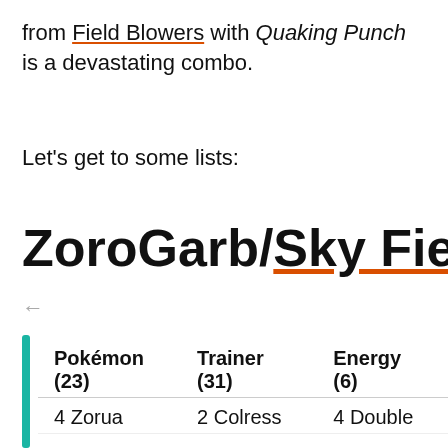from Field Blowers with Quaking Punch is a devastating combo.
Let's get to some lists:
ZoroGarb/Sky Field
| Pokémon (23) | Trainer (31) | Energy (6) |
| --- | --- | --- |
| 4 Zorua | 2 Colress | 4 Double |